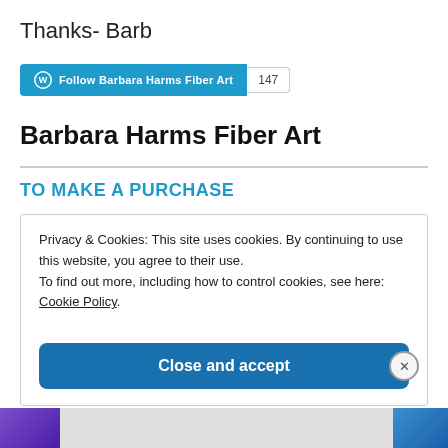Thanks- Barb
[Figure (other): WordPress Follow button for Barbara Harms Fiber Art with follower count badge showing 147]
Barbara Harms Fiber Art
TO MAKE A PURCHASE
Privacy & Cookies: This site uses cookies. By continuing to use this website, you agree to their use.
To find out more, including how to control cookies, see here: Cookie Policy
Close and accept